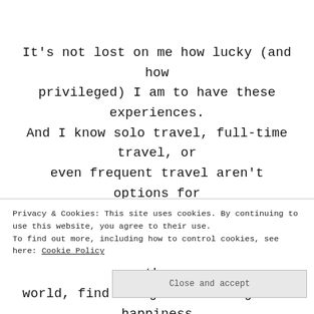It's not lost on me how lucky (and how privileged) I am to have these experiences. And I know solo travel, full-time travel, or even frequent travel aren't options for everyone. But I believe there are ways for EVERYONE to get out there and see the world, find things that bring them happiness
Privacy & Cookies: This site uses cookies. By continuing to use this website, you agree to their use.
To find out more, including how to control cookies, see here: Cookie Policy